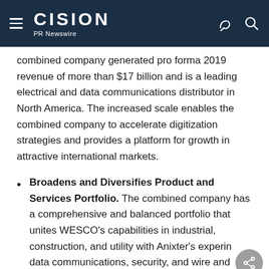CISION PR Newswire
combined company generated pro forma 2019 revenue of more than $17 billion and is a leading electrical and data communications distributor in North America. The increased scale enables the combined company to accelerate digitization strategies and provides a platform for growth in attractive international markets.
Broadens and Diversifies Product and Services Portfolio. The combined company has a comprehensive and balanced portfolio that unites WESCO's capabilities in industrial, construction, and utility with Anixter's exper in data communications, security, and wire and